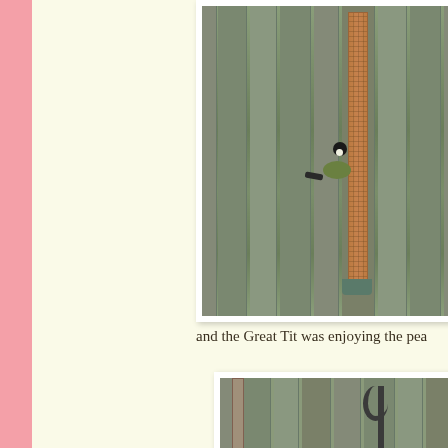[Figure (photo): A Great Tit bird perched on a mesh peanut feeder hanging against a wooden fence/wall with vertical grey-green planks.]
and the Great Tit was enjoying the pea
[Figure (photo): Bottom portion of a garden scene showing a metal hook/stand against a wooden fence background.]